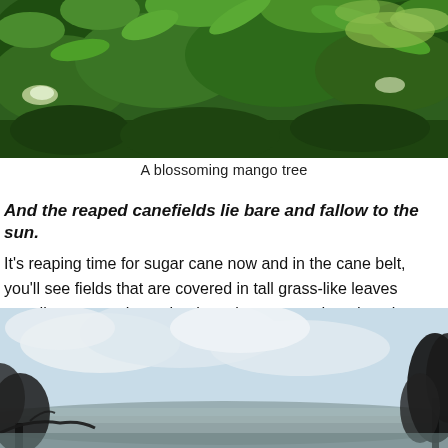[Figure (photo): Photograph of a blossoming mango tree with lush green leaves and white flower clusters against a green background]
A blossoming mango tree
And the reaped canefields lie bare and fallow to the sun.
It's reaping time for sugar cane now and in the cane belt, you'll see fields that are covered in tall grass-like leaves standing next to those that have been reaped, and trucks laden down with joints of the sugary cane.
[Figure (photo): Photograph of a landscape with a pale blue sky with clouds, dark tree silhouettes at the edges and a distant hillside]